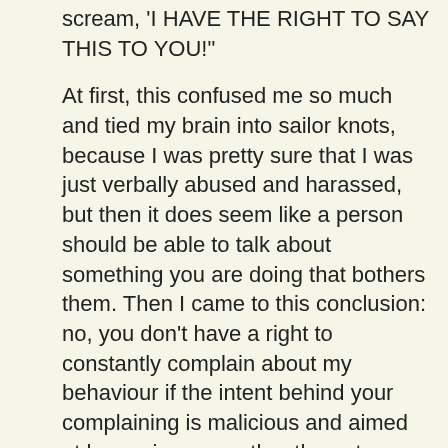scream, 'I HAVE THE RIGHT TO SAY THIS TO YOU!'
At first, this confused me so much and tied my brain into sailor knots, because I was pretty sure that I was just verbally abused and harassed, but then it does seem like a person should be able to talk about something you are doing that bothers them. Then I came to this conclusion: no, you don't have a right to constantly complain about my behaviour if the intent behind your complaining is malicious and aimed at harassing me, rather than at resolving the situation that is bothering them.